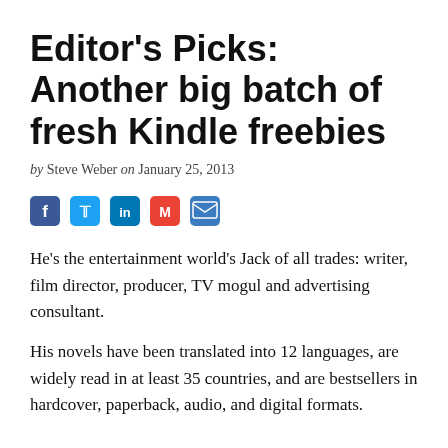Editor's Picks: Another big batch of fresh Kindle freebies
by Steve Weber on January 25, 2013
[Figure (infographic): Social sharing icons: Facebook, Twitter, LinkedIn, Gmail, Email]
He’s the entertainment world’s Jack of all trades: writer, film director, producer, TV mogul and advertising consultant.
His novels have been translated into 12 languages, are widely read in at least 35 countries, and are bestsellers in hardcover, paperback, audio, and digital formats.